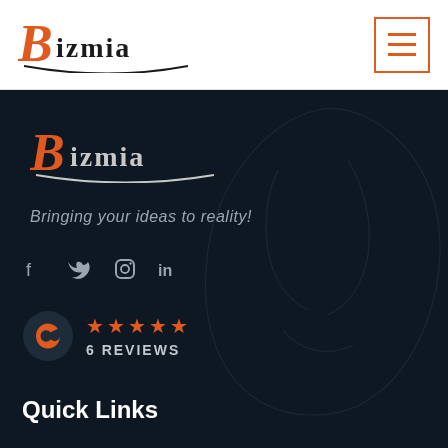[Figure (logo): Bizmia logo with orange stylized B and dark text in header bar]
[Figure (other): Hamburger menu button with orange border and three orange horizontal lines]
[Figure (logo): Bizmia logo on dark background with orange B and gray text]
Bringing your ideas to reality!
[Figure (other): Social media icons: Facebook, Twitter, Instagram, LinkedIn in gray]
[Figure (other): Clutch logo with 5 orange stars and '6 REVIEWS' text]
Quick Links